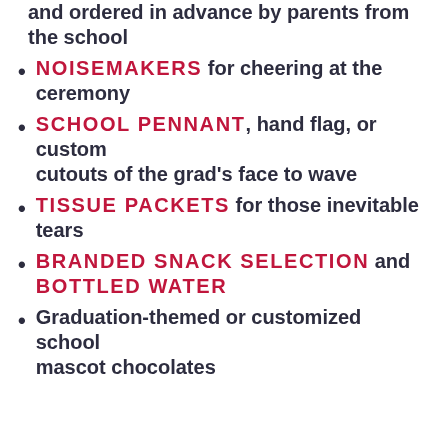and ordered in advance by parents from the school
NOISEMAKERS for cheering at the ceremony
SCHOOL PENNANT, hand flag, or custom cutouts of the grad's face to wave
TISSUE PACKETS for those inevitable tears
BRANDED SNACK SELECTION and BOTTLED WATER
Graduation-themed or customized school mascot chocolates